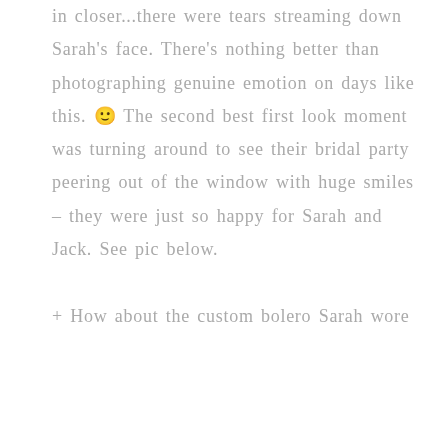in closer...there were tears streaming down Sarah's face. There's nothing better than photographing genuine emotion on days like this. 🙂 The second best first look moment was turning around to see their bridal party peering out of the window with huge smiles – they were just so happy for Sarah and Jack. See pic below.

+ How about the custom bolero Sarah wore